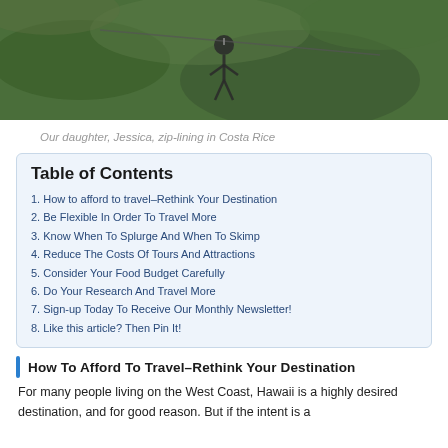[Figure (photo): Photo of a person zip-lining in a lush green tropical forest in Costa Rica]
Our daughter, Jessica, zip-lining in Costa Rice
| Table of Contents |
| --- |
| 1. How to afford to travel–Rethink Your Destination |
| 2. Be Flexible In Order To Travel More |
| 3. Know When To Splurge And When To Skimp |
| 4. Reduce The Costs Of Tours And Attractions |
| 5. Consider Your Food Budget Carefully |
| 6. Do Your Research And Travel More |
| 7. Sign-up Today To Receive Our Monthly Newsletter! |
| 8. Like this article? Then Pin It! |
How To Afford To Travel–Rethink Your Destination
For many people living on the West Coast, Hawaii is a highly desired destination, and for good reason. But if the intent is a